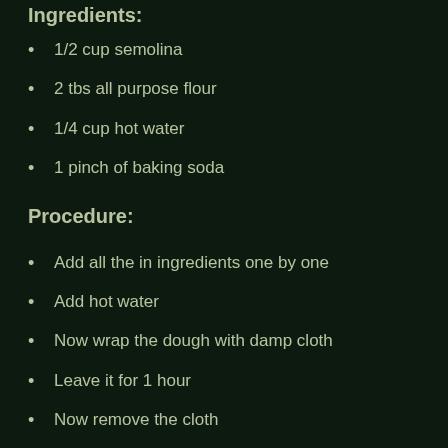Ingredients:
1/2 cup semolina
2 tbs all purpose flour
1/4 cup hot water
1 pinch of baking soda
Procedure:
Add all the in ingredients one by one
Add hot water
Now wrap the dough with damp cloth
Leave it for 1 hour
Now remove the cloth
Divide the dough into 2 parts
Now roll out the dough
Take a round cutter and cut into roundels